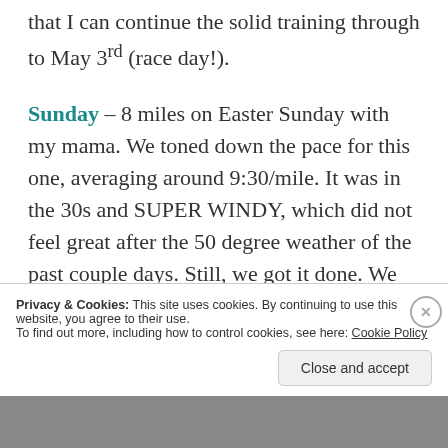that I can continue the solid training through to May 3rd (race day!).
Sunday – 8 miles on Easter Sunday with my mama. We toned down the pace for this one, averaging around 9:30/mile. It was in the 30s and SUPER WINDY, which did not feel great after the 50 degree weather of the past couple days. Still, we got it done. We
Privacy & Cookies: This site uses cookies. By continuing to use this website, you agree to their use. To find out more, including how to control cookies, see here: Cookie Policy
Close and accept